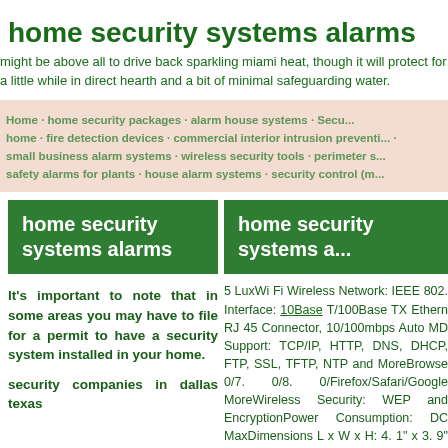home security systems alarms
might be above all to drive back sparkling miami heat, though it will protect for a little while in direct hearth and a bit of minimal safeguarding water.
Home · home security packages · alarm house systems · Secu... home · fire detection devices · commercial interior intrusion preventi... · small business alarm systems · wireless security tools · perimeter s... · safety alarms for plants · house alarm systems · security control (m...
home security systems alarms
It's important to note that in some areas you may have to file for a permit to have a security system installed in your home.
security companies in dallas texas
home security systems a...
5 LuxWi Fi Wireless Network: IEEE 802. Interface: 10Base T/100Base TX Ethern RJ 45 Connector, 10/100mbps Auto MD Support: TCP/IP, HTTP, DNS, DHCP, FTP, SSL, TFTP, NTP and MoreBrowse 0/7. 0/8. 0/Firefox/Safari/Google MoreWireless Security: WEP and EncryptionPower Consumption: DC MaxDimensions L x W x H: 4. 1" x 3. 9" PIPCAMHD82 Smart Digital IP Cam Recording System is easy to setup and c res HD 1080p video and make wirele